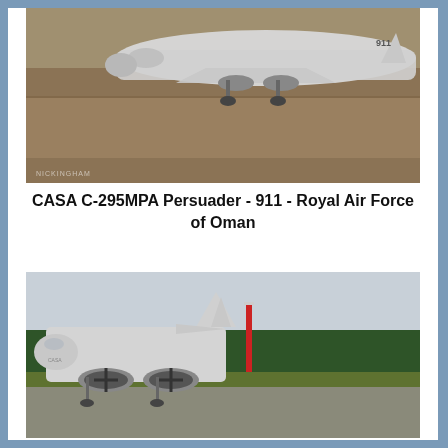[Figure (photo): A CASA C-295MPA Persuader military patrol aircraft numbered 911 of the Royal Air Force of Oman, photographed on a tarmac runway. Gray overcast sky visible in background.]
CASA C-295MPA Persuader - 911 - Royal Air Force of Oman
[Figure (photo): A CASA C-295 military transport/patrol aircraft on a tarmac at an airfield with green trees and overcast sky in the background. The aircraft is viewed from a low angle showing the rear fuselage, twin turboprop engines, and nose section.]